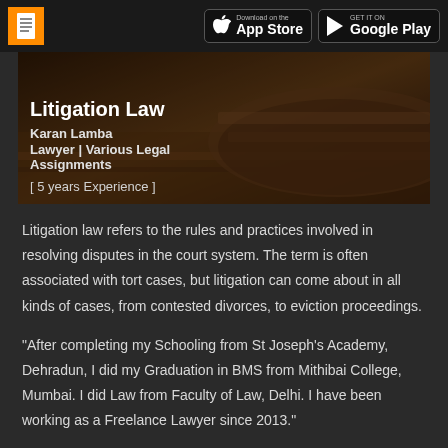Litigation Law — App Store / Google Play header
[Figure (photo): Courtroom interior photo used as hero banner background with dark overlay, showing curved wooden benches]
Litigation Law
Karan Lamba
Lawyer | Various Legal Assignments
[ 5 years Experience ]
Litigation law refers to the rules and practices involved in resolving disputes in the court system. The term is often associated with tort cases, but litigation can come about in all kinds of cases, from contested divorces, to eviction proceedings.
"After completing my Schooling from St Joseph's Academy, Dehradun, I did my Graduation in BMS from Mithibai College, Mumbai. I did Law from Faculty of Law, Delhi. I have been working as a Freelance Lawyer since 2013."